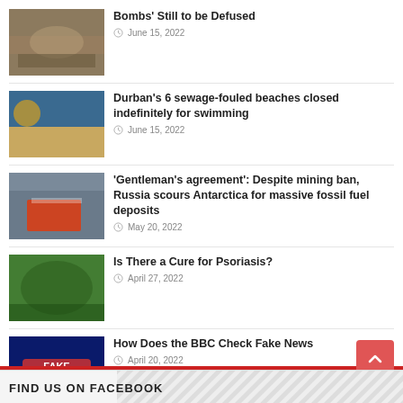'[...] Health and Environmental Pollution' Time Bombs' Still to be Defused — June 15, 2022
Durban's 6 sewage-fouled beaches closed indefinitely for swimming — June 15, 2022
'Gentleman's agreement': Despite mining ban, Russia scours Antarctica for massive fossil fuel deposits — May 20, 2022
Is There a Cure for Psoriasis? — April 27, 2022
How Does the BBC Check Fake News — April 20, 2022
FIND US ON FACEBOOK